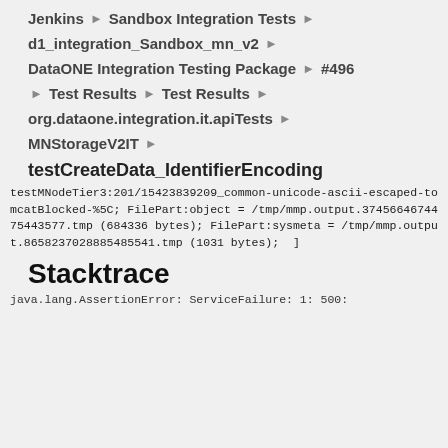Jenkins ▶ Sandbox Integration Tests ▶
d1_integration_Sandbox_mn_v2 ▶
DataONE Integration Testing Package ▶ #496
▶ Test Results ▶ Test Results ▶
org.dataone.integration.it.apiTests ▶
MNStorageV2IT ▶
testCreateData_IdentifierEncoding
testMNodeTier3:201/15423839209_common-unicode-ascii-escaped-tomcatBlocked-%5C; FilePart:object = /tmp/mmp.output.3745664674475443577.tmp (684336 bytes); FilePart:sysmeta = /tmp/mmp.output.8658237028885485541.tmp (1031 bytes);  ]
Stacktrace
java.lang.AssertionError: ServiceFailure: 1: 500: